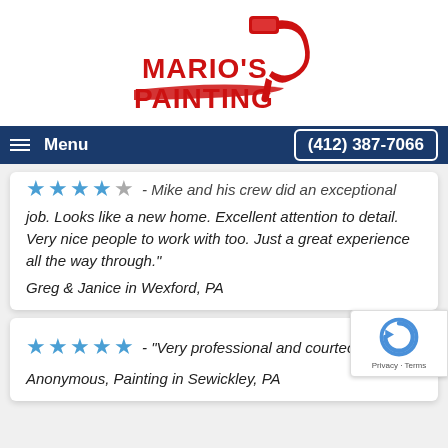[Figure (logo): Mario's Painting logo — bold red text reading MARIO'S PAINTING with a red paint roller icon above and to the right]
Menu   (412) 387-7066
★★★★★ - Mike and his crew did an exceptional job. Looks like a new home. Excellent attention to detail. Very nice people to work with too. Just a great experience all the way through."
Greg & Janice in Wexford, PA
★★★★★ - "Very professional and courteous."
Anonymous, Painting in Sewickley, PA